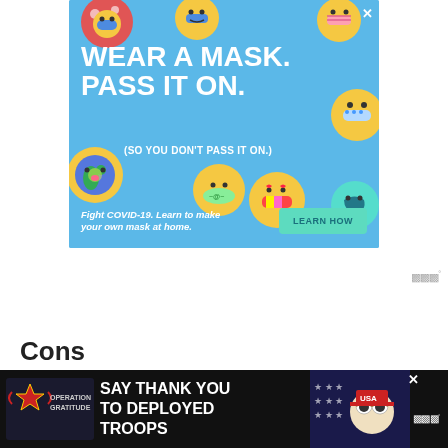[Figure (illustration): Blue advertisement banner for COVID-19 mask awareness. Features colorful emoji faces wearing various patterned masks scattered around the image. Large white bold text reads 'WEAR A MASK. PASS IT ON.' with smaller text '(SO YOU DON'T PASS IT ON.)' below. Bottom section has italic bold text 'Fight COVID-19. Learn to make your own mask at home.' and a teal 'LEARN HOW' button. Close X button in top right corner.]
Cons
[Figure (illustration): Dark banner advertisement for Operation Gratitude - 'SAY THANK YOU TO DEPLOYED TROOPS' with patriotic imagery including stars and an owl mascot in patriotic gear. Close X button visible. Weather widget icon on right side.]